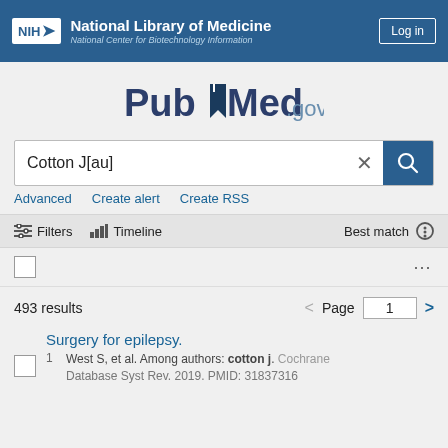NIH National Library of Medicine National Center for Biotechnology Information | Log in
[Figure (logo): PubMed.gov logo with bookmark icon]
Cotton J[au]
Advanced  Create alert  Create RSS
Filters  Timeline  Best match
493 results  Page 1
Surgery for epilepsy.
West S, et al. Among authors: cotton j. Cochrane Database Syst Rev. 2019. PMID: 31837316